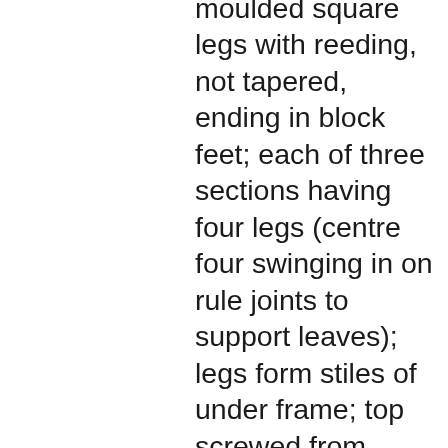moulded square legs with reeding, not tapered, ending in block feet; each of three sections having four legs (centre four swinging in on rule joints to support leaves); legs form stiles of under frame; top screwed from below in rounded incisions; leaves slot together with round pegs; D-ends held in place at sides with U-shaped metal straps; top and sides undecorated